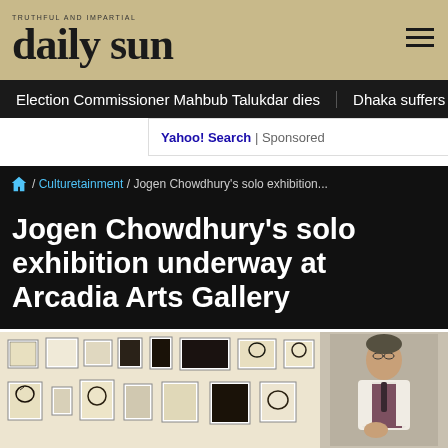daily sun
Election Commissioner Mahbub Talukdar dies   Dhaka suffers severe
Yahoo! Search | Sponsored
/ Culturetainment / Jogen Chowdhury's solo exhibition...
Jogen Chowdhury's solo exhibition underway at Arcadia Arts Gallery
[Figure (photo): Left: Gallery wall with many framed artworks by Jogen Chowdhury. Right: Portrait of Jogen Chowdhury standing, wearing glasses and a white vest.]